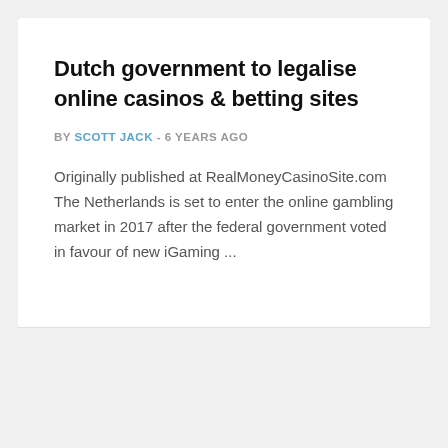Dutch government to legalise online casinos & betting sites
BY SCOTT JACK - 6 YEARS AGO
Originally published at RealMoneyCasinoSite.com The Netherlands is set to enter the online gambling market in 2017 after the federal government voted in favour of new iGaming ...